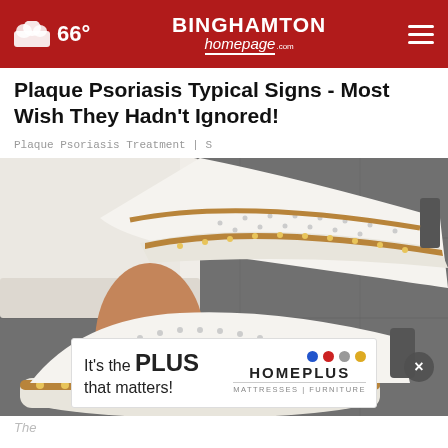66° | Binghamton Homepage
Plaque Psoriasis Typical Signs - Most Wish They Hadn't Ignored!
Plaque Psoriasis Treatment | S
[Figure (photo): Close-up photo of a person wearing white knit slip-on sneakers with gold stud trim around the sole, white perforated upper, and a tassel detail, worn with white cropped pants, on a grey pavement.]
The
[Figure (other): Advertisement for HomePlus: 'It's the PLUS that matters!' with HomePlus Mattresses | Furniture branding and colored dots.]